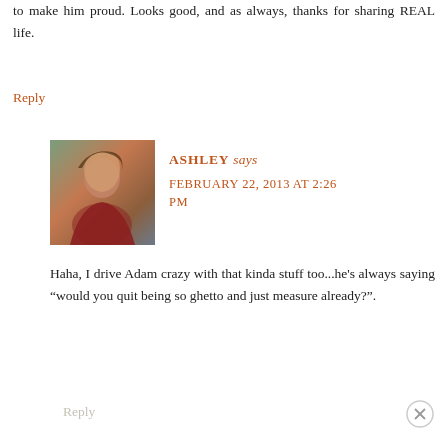to make him proud. Looks good, and as always, thanks for sharing REAL life.
Reply
[Figure (photo): Profile photo of Ashley, a young woman with long hair wearing a red top, outdoors near water.]
ASHLEY says FEBRUARY 22, 2013 AT 2:26 PM
Haha, I drive Adam crazy with that kinda stuff too...he's always saying “would you quit being so ghetto and just measure already?”.
Reply